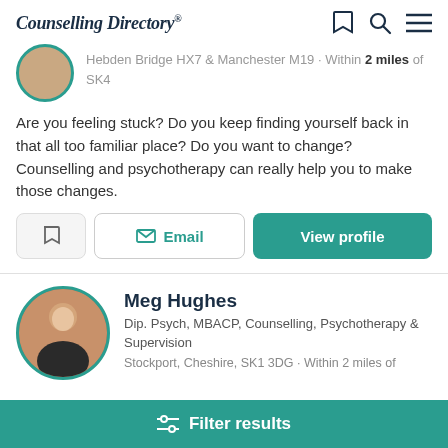Counselling Directory
Hebden Bridge HX7 & Manchester M19 · Within 2 miles of SK4
Are you feeling stuck? Do you keep finding yourself back in that all too familiar place? Do you want to change? Counselling and psychotherapy can really help you to make those changes.
Email | View profile
Meg Hughes
Dip. Psych, MBACP, Counselling, Psychotherapy & Supervision
Stockport, Cheshire, SK1 3DG · Within 2 miles of
Filter results